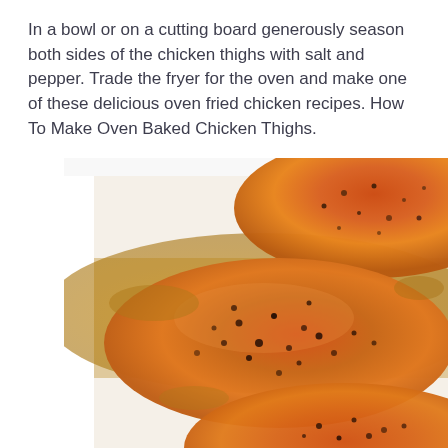In a bowl or on a cutting board generously season both sides of the chicken thighs with salt and pepper. Trade the fryer for the oven and make one of these delicious oven fried chicken recipes. How To Make Oven Baked Chicken Thighs.
[Figure (photo): Close-up photo of seasoned baked chicken breasts/thighs in a white baking dish, showing golden-brown skin with black pepper and spice seasoning, with pan juices around them.]